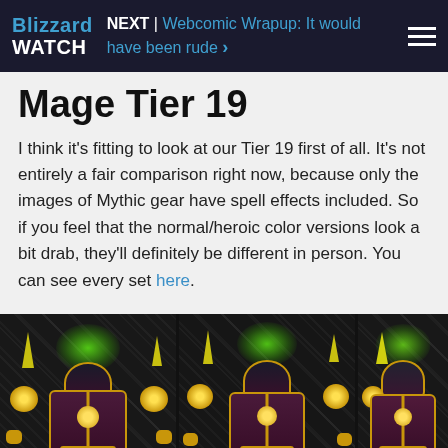Blizzard WATCH | NEXT | Webcomic Wrapup: It would have been rude >
Mage Tier 19
I think it's fitting to look at our Tier 19 first of all. It's not entirely a fair comparison right now, because only the images of Mythic gear have spell effects included. So if you feel that the normal/heroic color versions look a bit drab, they'll definitely be different in person. You can see every set here.
[Figure (photo): Three World of Warcraft Mage Tier 19 armor set character models shown side by side, featuring dark purple and gold robes with glowing green magical effects on the shoulders, against a dark watermarked background.]